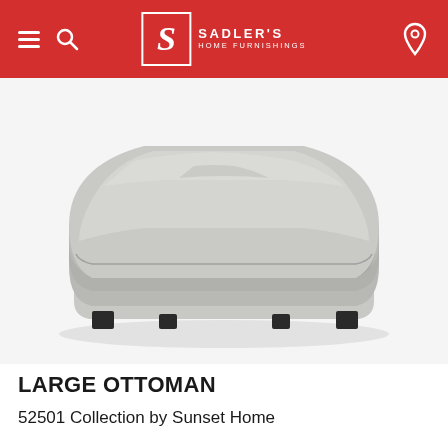Sadler's Home Furnishings
[Figure (photo): A large square gray upholstered ottoman with dark wood feet, photographed on a white background from a slightly elevated angle.]
LARGE OTTOMAN
52501 Collection by Sunset Home